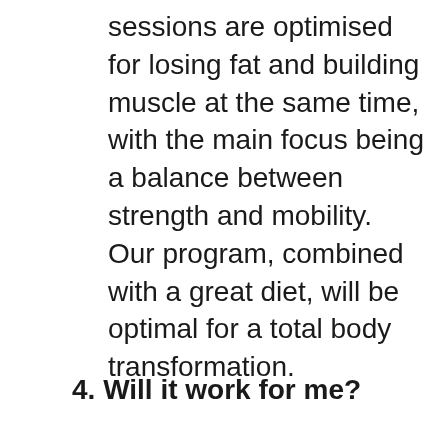sessions are optimised for losing fat and building muscle at the same time, with the main focus being a balance between strength and mobility. Our program, combined with a great diet, will be optimal for a total body transformation.
4. Will it work for me?